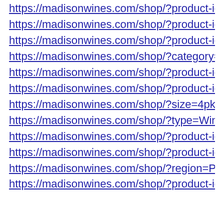https://madisonwines.com/shop/?product-id=5a94ad35f…
https://madisonwines.com/shop/?product-id=61f027268…
https://madisonwines.com/shop/?product-id=56f465a76…
https://madisonwines.com/shop/?category=spirits&basic…
https://madisonwines.com/shop/?product-id=5c5c9ca8b…
https://madisonwines.com/shop/?product-id=5c06ec2cd…
https://madisonwines.com/shop/?size=4pk%20-%20187ml
https://madisonwines.com/shop/?type=Wine&price_ran…
https://madisonwines.com/shop/?product-id=620e0c2d0…
https://madisonwines.com/shop/?product-id=56eb87916…
https://madisonwines.com/shop/?region=Piedmont
https://madisonwines.com/shop/?product-id=61c7a3a7f…